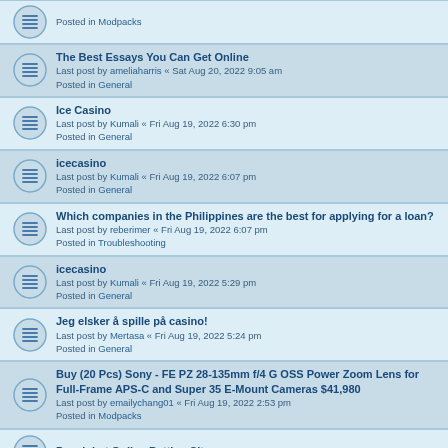Posted in Modpacks
The Best Essays You Can Get Online
Last post by ameliaharris « Sat Aug 20, 2022 9:05 am
Posted in General
Ice Casino
Last post by Kumali « Fri Aug 19, 2022 6:30 pm
Posted in General
icecasino
Last post by Kumali « Fri Aug 19, 2022 6:07 pm
Posted in General
Which companies in the Philippines are the best for applying for a loan?
Last post by reberimer « Fri Aug 19, 2022 6:07 pm
Posted in Troubleshooting
icecasino
Last post by Kumali « Fri Aug 19, 2022 5:29 pm
Posted in General
Jeg elsker å spille på casino!
Last post by Mertasa « Fri Aug 19, 2022 5:24 pm
Posted in General
Buy (20 Pcs) Sony - FE PZ 28-135mm f/4 G OSS Power Zoom Lens for Full-Frame APS-C and Super 35 E-Mount Cameras $41,980
Last post by emailychang01 « Fri Aug 19, 2022 2:53 pm
Posted in Modpacks
Panalobet Online Betting Sites